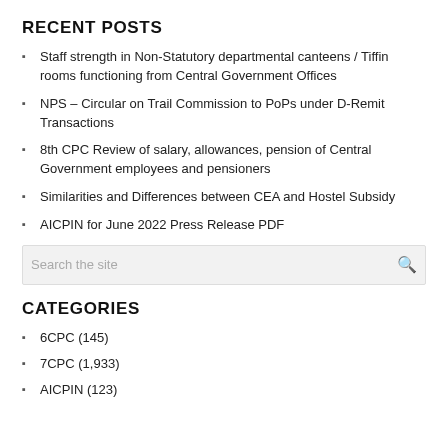RECENT POSTS
Staff strength in Non-Statutory departmental canteens / Tiffin rooms functioning from Central Government Offices
NPS – Circular on Trail Commission to PoPs under D-Remit Transactions
8th CPC Review of salary, allowances, pension of Central Government employees and pensioners
Similarities and Differences between CEA and Hostel Subsidy
AICPIN for June 2022 Press Release PDF
CATEGORIES
6CPC (145)
7CPC (1,933)
AICPIN (123)